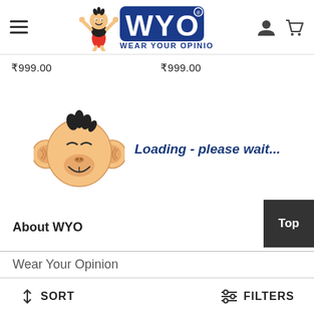[Figure (logo): WYO (Wear Your Opinion) website header with hamburger menu, logo with mascot character, user icon and cart icon]
₹999.00   ₹999.00
[Figure (illustration): Cartoon monkey face mascot with Loading - please wait... text in blue italic]
[Figure (other): Dark grey Top button in bottom right]
About WYO
Wear Your Opinion
↕ SORT   ≡ FILTERS